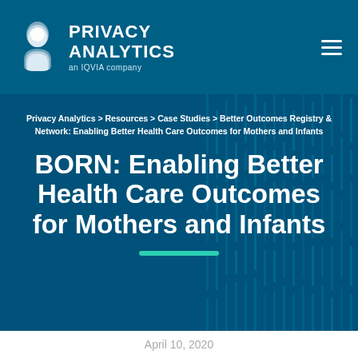PRIVACY ANALYTICS — an IQVIA company
Privacy Analytics > Resources > Case Studies > Better Outcomes Registry & Network: Enabling Better Health Care Outcomes for Mothers and Infants
BORN: Enabling Better Health Care Outcomes for Mothers and Infants
April 10, 2020